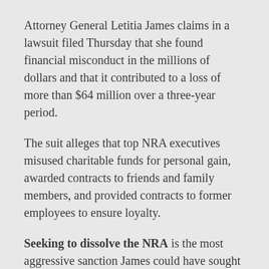Attorney General Letitia James claims in a lawsuit filed Thursday that she found financial misconduct in the millions of dollars and that it contributed to a loss of more than $64 million over a three-year period.
The suit alleges that top NRA executives misused charitable funds for personal gain, awarded contracts to friends and family members, and provided contracts to former employees to ensure loyalty.
Seeking to dissolve the NRA is the most aggressive sanction James could have sought against the not-for-profit organization, which James claims it did its own governance...